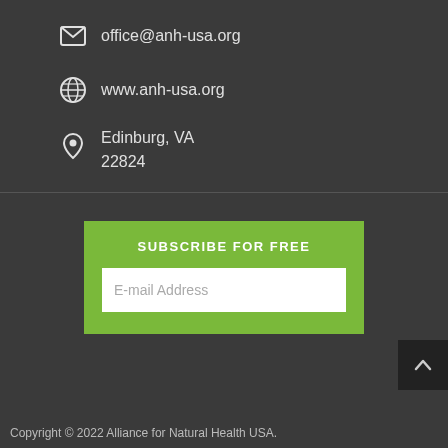office@anh-usa.org
www.anh-usa.org
Edinburg, VA
22824
SUBSCRIBE FOR FREE
E-mail Address
Copyright © 2022 Alliance for Natural Health USA.